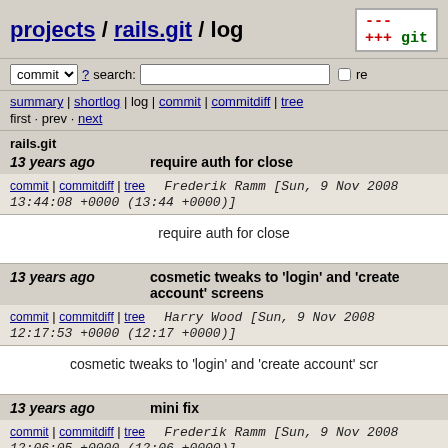projects / rails.git / log
commit ? search: re
summary | shortlog | log | commit | commitdiff | tree
first · prev · next
rails.git
13 years ago    require auth for close
commit | commitdiff | tree    Frederik Ramm [Sun, 9 Nov 2008 13:44:08 +0000 (13:44 +0000)]
require auth for close
13 years ago    cosmetic tweaks to 'login' and 'create account' screens
commit | commitdiff | tree    Harry Wood [Sun, 9 Nov 2008 12:17:53 +0000 (12:17 +0000)]
cosmetic tweaks to 'login' and 'create account' scr
13 years ago    mini fix
commit | commitdiff | tree    Frederik Ramm [Sun, 9 Nov 2008 12:06:05 +0000 (12:06 +0000)]